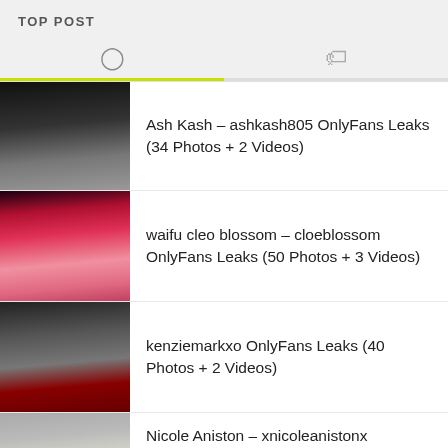TOP POST
[Figure (screenshot): Tab bar with clock icon (left, active with yellow-green underline) and price tag icon (right)]
Ash Kash – ashkash805 OnlyFans Leaks (34 Photos + 2 Videos)
waifu cleo blossom – cloeblossom OnlyFans Leaks (50 Photos + 3 Videos)
kenziemarkxo OnlyFans Leaks (40 Photos + 2 Videos)
Nicole Aniston – xnicoleanistonx OnlyFans Leaks (40 Photos + 2 Videos)